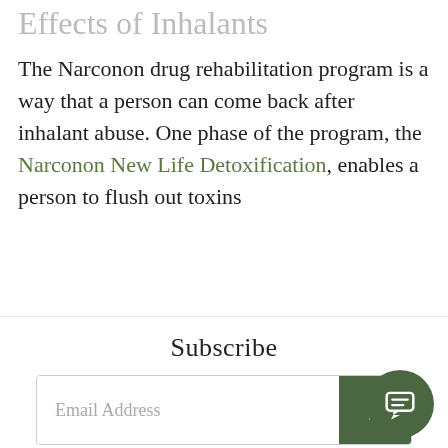Effects of Inhalants
The Narconon drug rehabilitation program is a way that a person can come back after inhalant abuse. One phase of the program, the Narconon New Life Detoxification, enables a person to flush out toxins
Subscribe
[Figure (screenshot): Email address input field with a dark green submit arrow button and a CLOSE label beneath]
to body to start eliminating toxins buried deep in fatty tissues. As these toxins are eliminated, one’s outlook brightens and thinking becomes clearer again.
The best effect of this action is that cravings for or inhalants reduces - some people even say the
[Figure (other): Dark green circular chat/support button in bottom right corner]